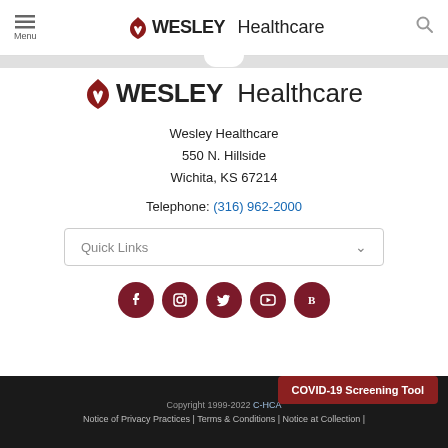Menu | Wesley Healthcare | Search
[Figure (logo): Wesley Healthcare logo with flame icon, bold WESLEY and regular Healthcare text]
Wesley Healthcare
550 N. Hillside
Wichita, KS 67214
Telephone: (316) 962-2000
Quick Links
[Figure (illustration): Social media icons: Facebook, Instagram, Twitter, YouTube, Blogspot — dark red circles]
Copyright 1999-2022 C-HCA | Notice of Privacy Practices | Terms & Conditions | Notice at Collection |
COVID-19 Screening Tool